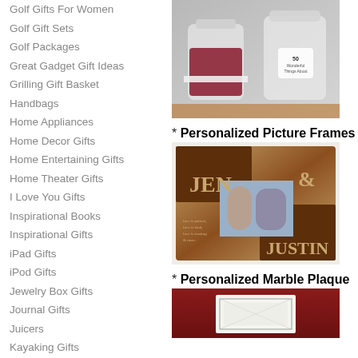Golf Gifts For Women
Golf Gift Sets
Golf Packages
Great Gadget Gift Ideas
Grilling Gift Basket
Handbags
Home Appliances
Home Decor Gifts
Home Entertaining Gifts
Home Theater Gifts
I Love You Gifts
Inspirational Books
Inspirational Gifts
iPad Gifts
iPod Gifts
Jewelry Box Gifts
Journal Gifts
Juicers
Kayaking Gifts
[Figure (photo): Two glass jars on a wooden surface; left jar filled with red fabric items with a white ribbon; right jar has a white heart label reading '50 Wonderful Things About']
* Personalized Picture Frames
[Figure (photo): Personalized wooden picture frame with names JEN & JUSTIN engraved, containing a photo of a couple]
* Personalized Marble Plaque
[Figure (photo): Partial view of a personalized marble plaque on a dark red background]